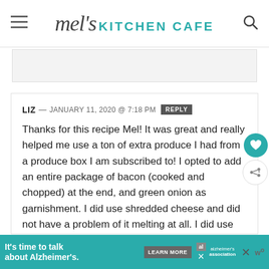mel's KITCHEN CAFE
LIZ — JANUARY 11, 2020 @ 7:18 PM REPLY
Thanks for this recipe Mel! It was great and really helped me use a ton of extra produce I had from a produce box I am subscribed to! I opted to add an entire package of bacon (cooked and chopped) at the end, and green onion as garnishment. I did use shredded cheese and did not have a problem of it melting at all. I did use an immersion blended which
It's time to talk about Alzheimer's. LEARN MORE